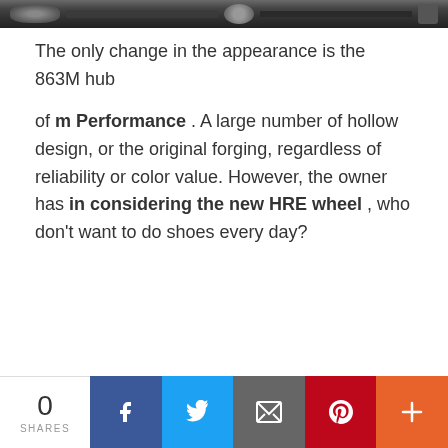[Figure (photo): Partial photo of a car engine/wheel hub at top of page, dark tones]
The only change in the appearance is the 863M hub of m Performance . A large number of hollow design, or the original forging, regardless of reliability or color value. However, the owner has in considering the new HRE wheel , who don't want to do shoes every day?
0 SHARES | Facebook | Twitter | Email | Pinterest | More